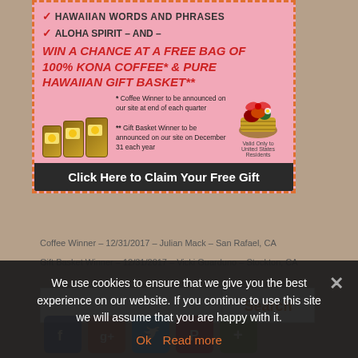[Figure (infographic): Hawaiian-themed promotional ad banner with pink background and dashed orange border. Shows checkmarks for Hawaiian words/phrases and aloha spirit, advertises a chance to win a free bag of 100% Kona Coffee and Pure Hawaiian Gift Basket. Features images of coffee bags and a gift basket. Includes fine print about when winners are announced. Bottom has dark banner: 'Click Here to Claim Your Free Gift'.]
Coffee Winner – 12/31/2017 – Julian Mack – San Rafael, CA
Gift Basket Winner – 12/31/2017 – Vicki Guarduno – Stockton, CA
Search
We use cookies to ensure that we give you the best experience on our website. If you continue to use this site we will assume that you are happy with it.
Ok  Read more